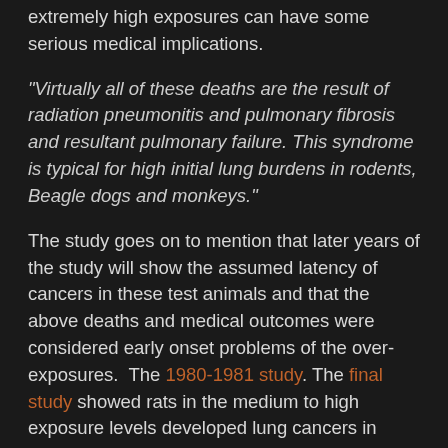extremely high exposures can have some serious medical implications.
"Virtually all of these deaths are the result of radiation pneumonitis and pulmonary fibrosis and resultant pulmonary failure. This syndrome is typical for high initial lung burdens in rodents, Beagle dogs and monkeys."
The study goes on to mention that later years of the study will show the assumed latency of cancers in these test animals and that the above deaths and medical outcomes were considered early onset problems of the over-exposures. The 1980-1981 study. The final study showed rats in the medium to high exposure levels developed lung cancers in notable numbers where lower numbers still created fatal cancers, just in lower numbers.